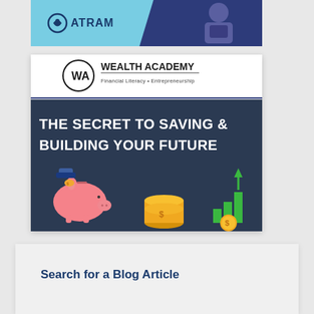[Figure (illustration): ATRAM logo banner — light blue background with ATRAM brand logo on left, cartoon figure holding books on dark blue right side]
[Figure (illustration): Wealth Academy Financial Literacy Entrepreneurship promotional banner — white header with WA logo, dark navy lower section with bold white text 'THE SECRET TO SAVING & BUILDING YOUR FUTURE', piggy bank illustration with hand dropping coin, gold coins stack, bar chart with dollar coin]
Search for a Blog Article